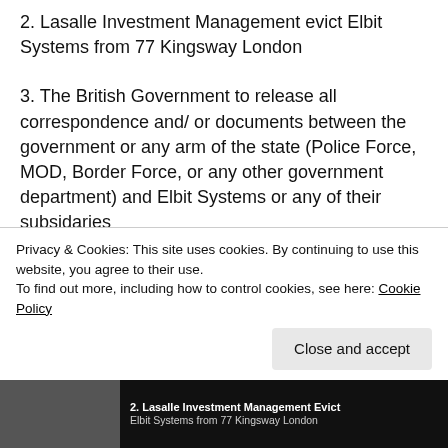2. Lasalle Investment Management evict Elbit Systems from 77 Kingsway London
3. The British Government to release all correspondence and/ or documents between the government or any arm of the state (Police Force, MOD, Border Force, or any other government department) and Elbit Systems or any of their subsidaries
4. Elbit Systems, Arconic, and all arms manufacturers supplying Israel to shut down
Privacy & Cookies: This site uses cookies. By continuing to use this website, you agree to their use.
To find out more, including how to control cookies, see here: Cookie Policy
Close and accept
[Figure (screenshot): Bottom strip showing a thumbnail image and text: '2. Lasalle Investment Management Evict Elbit Systems from 77 Kingsway London']